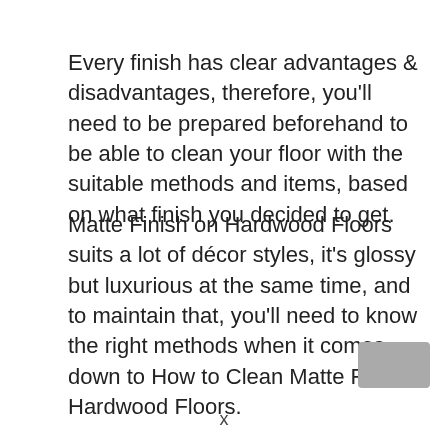Every finish has clear advantages & disadvantages, therefore, you'll need to be prepared beforehand to be able to clean your floor with the suitable methods and items, based on what finish you decided to get.
Matte Finish on Hardwood Floors suits a lot of décor styles, it's glossy but luxurious at the same time, and to maintain that, you'll need to know the right methods when it comes down to How to Clean Matte Finish Hardwood Floors.